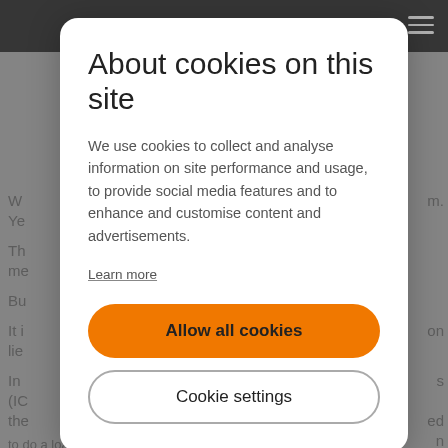[Figure (screenshot): Background webpage content partially visible behind a cookie consent modal overlay. Top navigation bar is dark/black. Partial text lines visible on left and right edges of the page in grey.]
About cookies on this site
We use cookies to collect and analyse information on site performance and usage, to provide social media features and to enhance and customise content and advertisements.
Learn more
Allow all cookies
Cookie settings